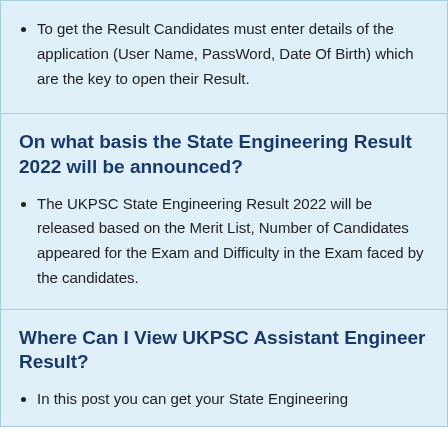To get the Result Candidates must enter details of the application (User Name, PassWord, Date Of Birth) which are the key to open their Result.
On what basis the State Engineering Result 2022 will be announced?
The UKPSC State Engineering Result 2022 will be released based on the Merit List, Number of Candidates appeared for the Exam and Difficulty in the Exam faced by the candidates.
Where Can I View UKPSC Assistant Engineer Result?
In this post you can get your State Engineering